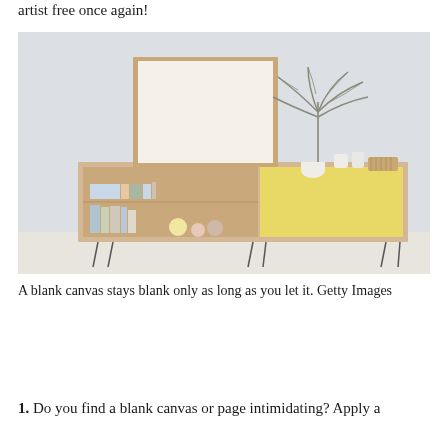artist free once again!
[Figure (photo): A modern Scandinavian-style sideboard/credenza with hairpin legs. On top sits a large blank white canvas in a light wood frame, a white ceramic vase with a dried palm leaf plant, two small white vases, and a woven basket. The lower cabinet has an open shelf with books and decorative balls in pastel colors, and a yellow sliding door panel. The background is a light grey wall and pale floor.]
A blank canvas stays blank only as long as you let it. Getty Images
1. Do you find a blank canvas or page intimidating? Apply a